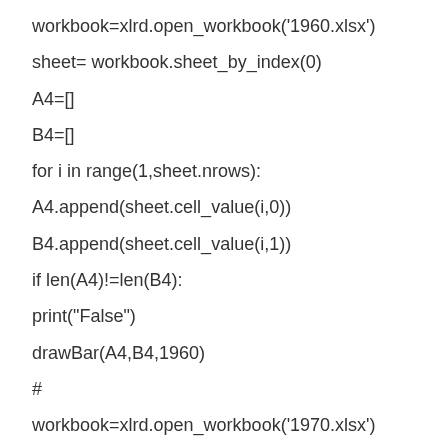workbook=xlrd.open_workbook('1960.xlsx')
sheet= workbook.sheet_by_index(0)
A4=[]
B4=[]
for i in range(1,sheet.nrows):
A4.append(sheet.cell_value(i,0))
B4.append(sheet.cell_value(i,1))
if len(A4)!=len(B4):
print("False")
drawBar(A4,B4,1960)
#
workbook=xlrd.open_workbook('1970.xlsx')